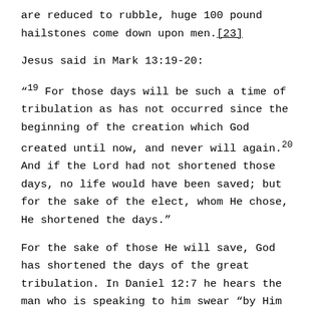are reduced to rubble, huge 100 pound hailstones come down upon men.[23]
Jesus said in Mark 13:19-20:
"19 For those days will be such a time of tribulation as has not occurred since the beginning of the creation which God created until now, and never will again.20 And if the Lord had not shortened those days, no life would have been saved; but for the sake of the elect, whom He chose, He shortened the days."
For the sake of those He will save, God has shortened the days of the great tribulation. In Daniel 12:7 he hears the man who is speaking to him swear “by Him who lives forever that it would be for a time, times, and half a time; and as soon as they finish shattering the power